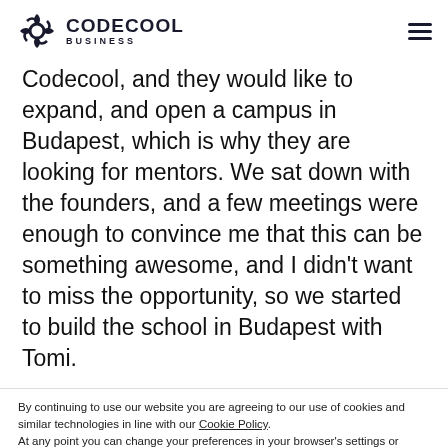[Figure (logo): Codecool Business logo with circular gear-like icon and text CODECOOL BUSINESS, plus hamburger menu icon on right]
Codecool, and they would like to expand, and open a campus in Budapest, which is why they are looking for mentors. We sat down with the founders, and a few meetings were enough to convince me that this can be something awesome, and I didn't want to miss the opportunity, so we started to build the school in Budapest with Tomi.
By continuing to use our website you are agreeing to our use of cookies and similar technologies in line with our Cookie Policy.
At any point you can change your preferences in your browser's settings or delete cookies.
I ACCEPT